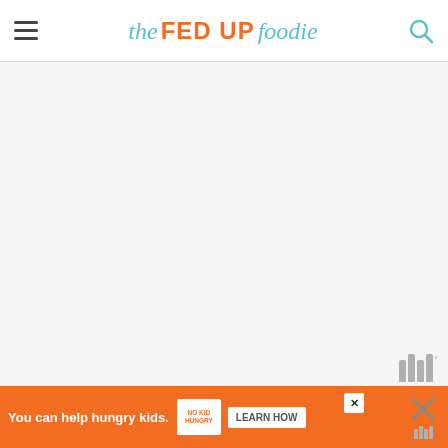the FED UP foodie
[Figure (photo): Blank/placeholder image area for food photo, with WW logo watermark in bottom right corner]
For best results prepare just before eating for a warm dessert. For chilled Zabaglione prepare 6 hours before serving.
[Figure (infographic): Orange ad banner: 'You can help hungry kids. NO KID HUNGRY LEARN HOW' with close button and cross icons]